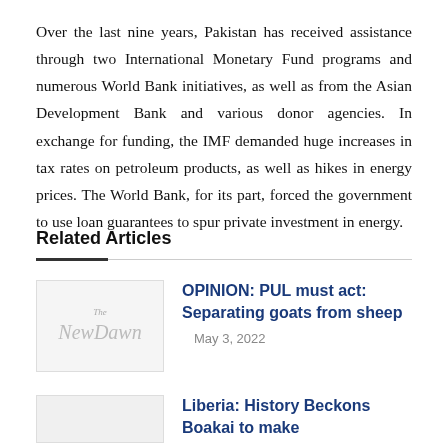Over the last nine years, Pakistan has received assistance through two International Monetary Fund programs and numerous World Bank initiatives, as well as from the Asian Development Bank and various donor agencies. In exchange for funding, the IMF demanded huge increases in tax rates on petroleum products, as well as hikes in energy prices. The World Bank, for its part, forced the government to use loan guarantees to spur private investment in energy.
Related Articles
[Figure (logo): The New Dawn newspaper logo placeholder thumbnail]
OPINION: PUL must act: Separating goats from sheep
May 3, 2022
Liberia: History Beckons Boakai to make